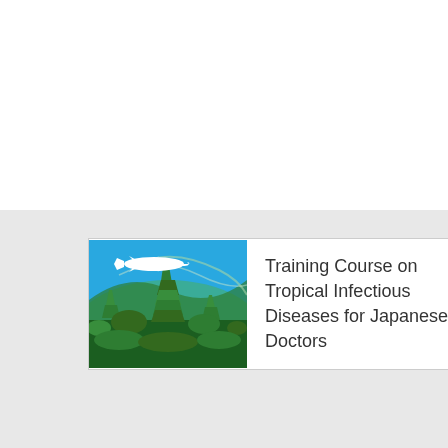[Figure (illustration): Logo banner for Training Course on Tropical Infectious Diseases for Japanese Doctors. Contains an illustration of a tropical scene with green pagodas, lush greenery, and a white airplane silhouette against a blue sky, alongside the course title text.]